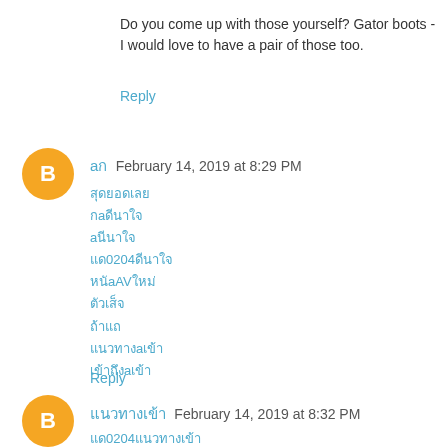Do you come up with those yourself? Gator boots - I would love to have a pair of those too.
Reply
aก February 14, 2019 at 8:29 PM
สุดยอดเลย
กaดีนาใจ
 aนีนาใจ
แค0204ดีนาใจ
หนัaAVใหม่
ตัวเสร็จ
ถ้าแถ
แนวทางaเข้า
เข้าถึงaเข้า
Reply
แนวทางเข้า February 14, 2019 at 8:32 PM
แค0204แนวทางเข้า